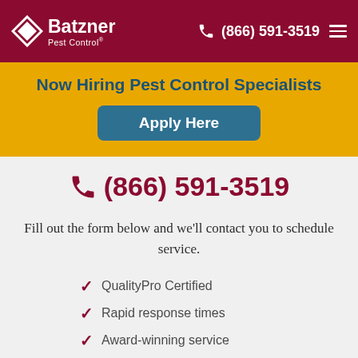Batzner Pest Control (866) 591-3519
Now Hiring Pest Control Specialists
Apply Here
(866) 591-3519
Fill out the form below and we'll contact you to schedule service.
QualityPro Certified
Rapid response times
Award-winning service